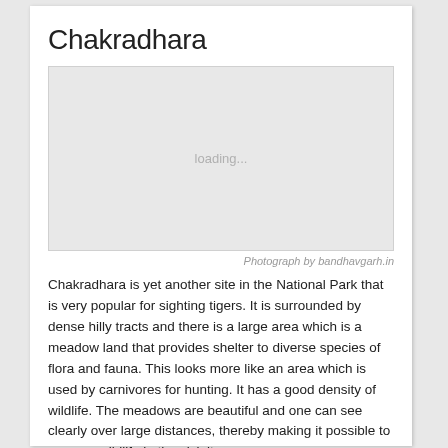Chakradhara
[Figure (photo): Loading placeholder image box for Chakradhara photograph]
Photograph by bandhavgarh.in
Chakradhara is yet another site in the National Park that is very popular for sighting tigers. It is surrounded by dense hilly tracts and there is a large area which is a meadow land that provides shelter to diverse species of flora and fauna. This looks more like an area which is used by carnivores for hunting. It has a good density of wildlife. The meadows are beautiful and one can see clearly over large distances, thereby making it possible to see any wildlife in the vicinity